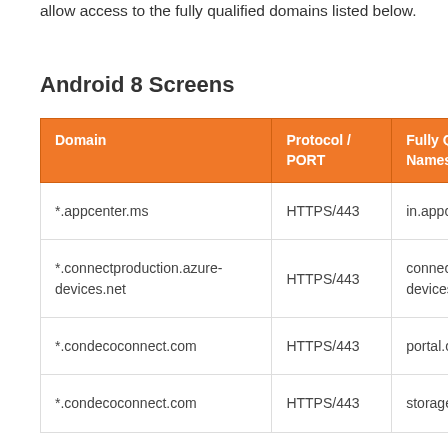allow access to the fully qualified domains listed below.
Android 8 Screens
| Domain | Protocol / PORT | Fully Qualified Names |
| --- | --- | --- |
| *.appcenter.ms | HTTPS/443 | in.appcenter.ms |
| *.connectproduction.azure-devices.net | HTTPS/443 | connectproduction.azure-devices.net |
| *.condecoconnect.com | HTTPS/443 | portal.condeco... |
| *.condecoconnect.com | HTTPS/443 | storage.condeco... |